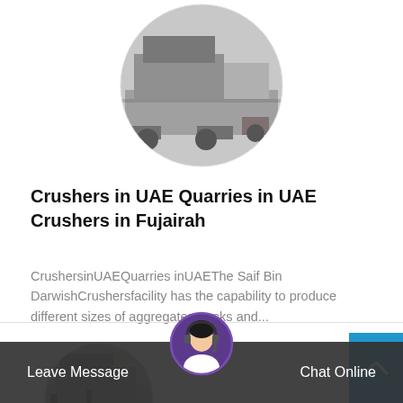[Figure (photo): Circular cropped photo of heavy machinery/crusher equipment on a truck, grayscale/muted tones]
Crushers in UAE Quarries in UAE Crushers in Fujairah
CrushersinUAEQuarries inUAEThe Saif Bin DarwishCrushersfacility has the capability to produce different sizes of aggregates, rocks and...
Read More →
[Figure (photo): Circular cropped photo of industrial crusher/machinery, bottom of page partially visible]
[Figure (photo): Circular avatar photo of a woman wearing a headset (customer support representative)]
Leave Message
Chat Online